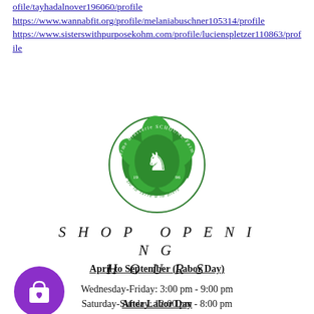ofile/tayhadalnover196060/profile
https://www.wannabfit.org/profile/melaniabuschner105314/profile
https://www.sisterswithpurposekohm.com/profile/lucienspletzer110863/profile
[Figure (logo): Ferme Brasserie SCHOUNE Farm Brewery circular logo with green hop leaves and a rampant lion, text 'De la Terre à la Bière', dated 1996]
SHOP OPENING HOURS
April to September (Labor Day)
Wednesday-Friday: 3:00 pm - 9:00 pm
Saturday-Sunday: 12:00 pm - 8:00 pm
After Labor Day
Friday: 3:00 pm - 9:00 pm